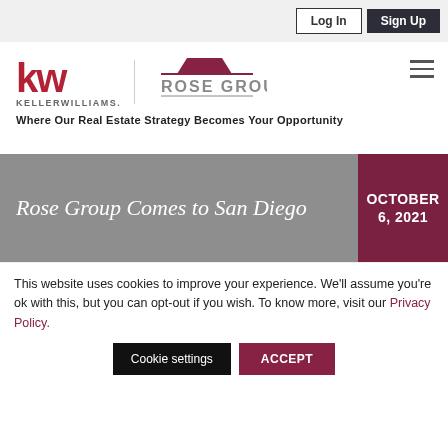Log In | Sign Up
[Figure (logo): Keller Williams logo with KW letters in red and KELLERWILLIAMS text in gray]
[Figure (logo): Rose Group logo with house roof icon and gray text]
Where Our Real Estate Strategy Becomes Your Opportunity
Rose Group Comes to San Diego
OCTOBER 6, 2021
This website uses cookies to improve your experience. We'll assume you're ok with this, but you can opt-out if you wish. To know more, visit our Privacy Policy.
Cookie settings | ACCEPT